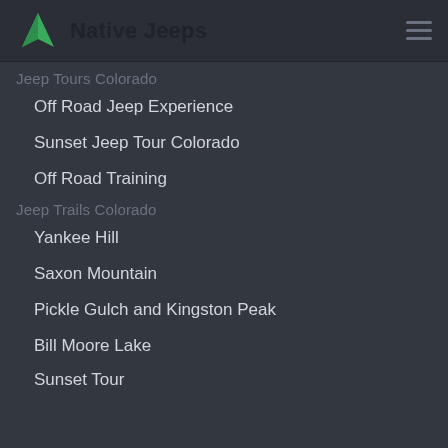Native Jeeps
Jeep Tours Colorado
Off Road Jeep Experience
Sunset Jeep Tour Colorado
Off Road Training
Jeep Trails Colorado
Yankee Hill
Saxon Mountain
Pickle Gulch and Kingston Peak
Bill Moore Lake
Sunset Tour